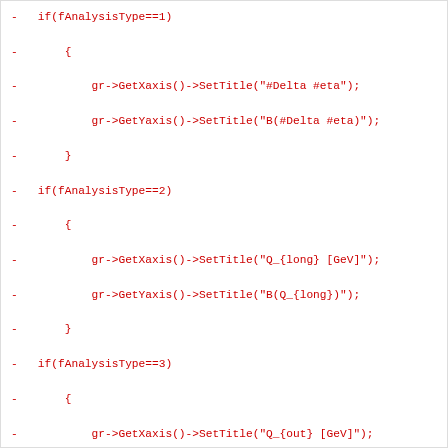Code diff showing removed lines with if(fAnalysisType==1) through if(fAnalysisType==6) blocks setting X and Y axis titles, followed by gr->Draw("AP");